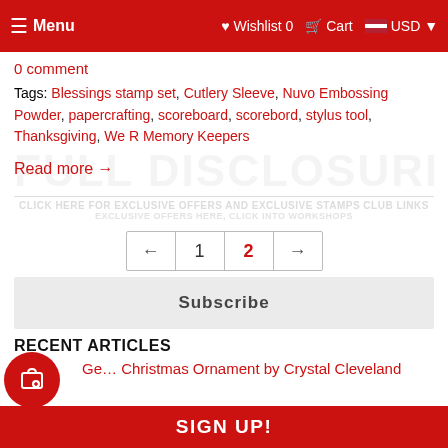Menu  Wishlist 0  Cart  USD
0 comment
Tags: Blessings stamp set, Cutlery Sleeve, Nuvo Embossing Powder, papercrafting, scoreboard, scorebord, stylus tool, Thanksgiving, We R Memory Keepers
Read more →
Subscribe
RECENT ARTICLES
Gel Christmas Ornament by Crystal Cleveland
SIGN UP!